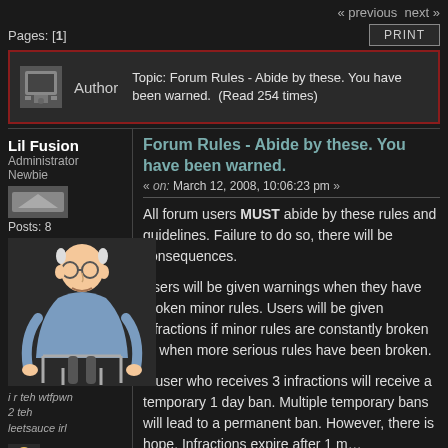« previous next »
Pages: [1]
PRINT
Author   Topic: Forum Rules - Abide by these. You have been warned.  (Read 254 times)
Forum Rules - Abide by these. You have been warned.
« on: March 12, 2008, 10:06:23 pm »
Lil Fusion
Administrator
Newbie
Posts: 8
[Figure (illustration): Cartoon illustration of an elderly man hunched over a walker]
i r teh wtfpwn 2 teh leetsauce irl
All forum users MUST abide by these rules and guidelines. Failure to do so, there will be consequences.
Users will be given warnings when they have broken minor rules. Users will be given infractions if minor rules are constantly broken or when more serious rules have been broken.
A user who receives 3 infractions will receive a temporary 1 day ban. Multiple temporary bans will lead to a permanent ban. However, there is hope. Infractions expire after 1 m...
Users can also be banned immediately for breaking the most serious rules.
Users will receive 1 warning for the following (though infractions for repeated offenders, or if you do th... because you know you will only get a warning)